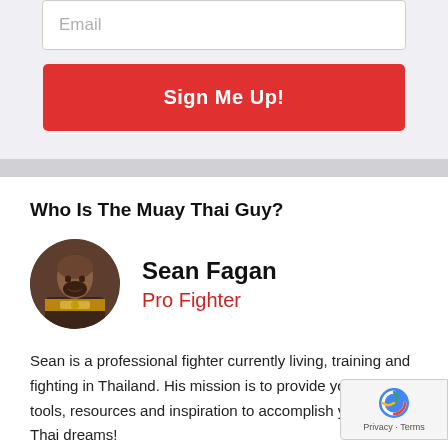Email
Sign Me Up!
Who Is The Muay Thai Guy?
[Figure (photo): Circular profile photo of Sean Fagan, a pro fighter holding a championship belt]
Sean Fagan
Pro Fighter
Sean is a professional fighter currently living, training and fighting in Thailand. His mission is to provide you with the tools, resources and inspiration to accomplish your Muay Thai dreams!